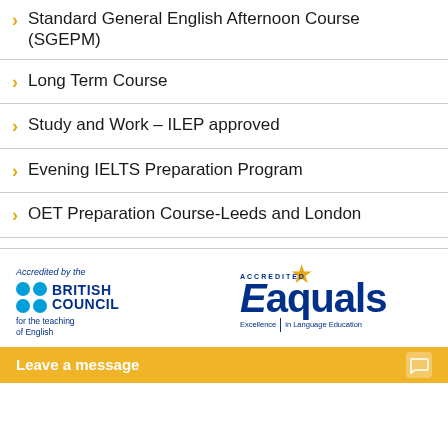Standard General English Afternoon Course (SGEPM)
Long Term Course
Study and Work – ILEP approved
Evening IELTS Preparation Program
OET Preparation Course-Leeds and London
[Figure (logo): Accredited by the British Council for the teaching of English logo, and Eaquals Excellence in Language Education accredited logo]